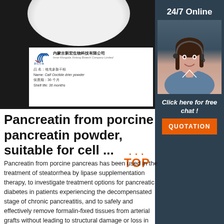[Figure (photo): Product photo showing white powder in a dark bowl/dish on black background, with a white label card from Inner Mongolia Xinlong Biotech Company Limited showing product name 'Calf Ooctide drier powder', shelf life 36 months]
[Figure (photo): Customer service agent photo - woman with headset smiling, in blue shirt, on dark blue sidebar background with '24/7 Online' text]
Pancreatin from porcine pancreas powder, suitable for cell ...
Pancreatin from porcine pancreas has been used in the treatment of steatorrhea by lipase supplementation therapy, to investigate treatment options for pancreatic diabetes in patients experiencing the decompensated stage of chronic pancreatitis, and to safely and effectively remove formalin-fixed tissues from arterial grafts without leading to structural damage or loss in fiber integrity.